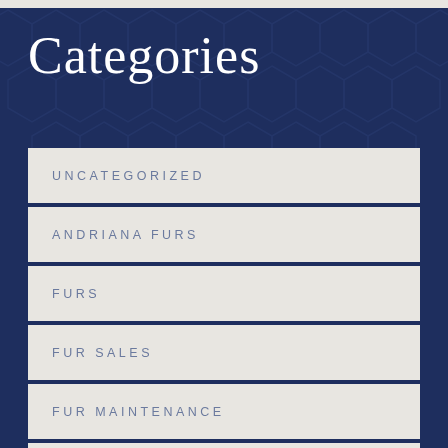Categories
UNCATEGORIZED
ANDRIANA FURS
FURS
FUR SALES
FUR MAINTENANCE
FUR STORAGE
FUR REPAIR